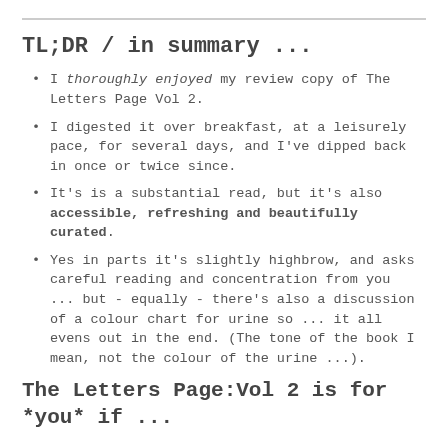TL;DR / in summary ...
I thoroughly enjoyed my review copy of The Letters Page Vol 2.
I digested it over breakfast, at a leisurely pace, for several days, and I've dipped back in once or twice since.
It's is a substantial read, but it's also accessible, refreshing and beautifully curated.
Yes in parts it's slightly highbrow, and asks careful reading and concentration from you  ... but - equally - there's also a discussion of a colour chart for urine so ... it all evens out in the end. (The tone of the book I mean, not the colour of the urine ...).
The Letters Page:Vol 2 is for *you* if ...